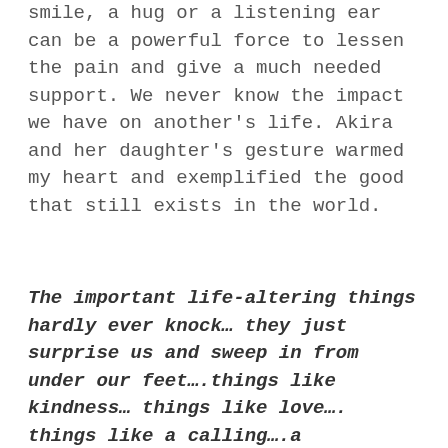smile, a hug or a listening ear can be a powerful force to lessen the pain and give a much needed support. We never know the impact we have on another's life. Akira and her daughter's gesture warmed my heart and exemplified the good that still exists in the world.
The important life-altering things hardly ever knock… they just surprise us and sweep in from under our feet….things like kindness… things like love…. things like a calling….a gesture….things like humanity.